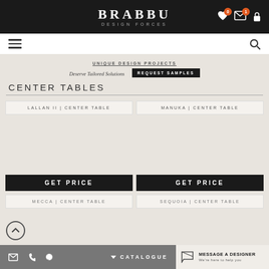BRABBU DESIGN FORCES
CENTER TABLES
UNIQUE DESIGN PROJECTS Deserve Tailored Solutions REQUEST SAMPLES
LALLAN II | CENTER TABLE
MANUKA | CENTER TABLE
GET PRICE
GET PRICE
MECCA | CENTER TABLE
SEQUOIA | CENTER TABLE
CATALOGUE  MESSAGE A DESIGNER We're here to help you